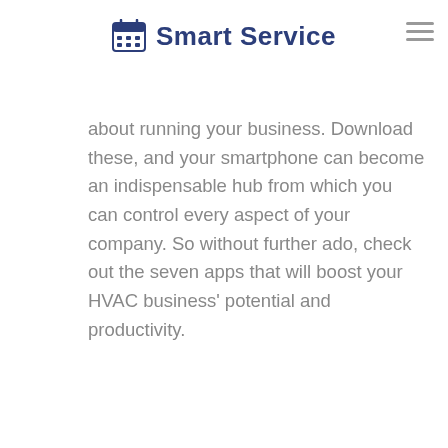Smart Service
about running your business. Download these, and your smartphone can become an indispensable hub from which you can control every aspect of your company. So without further ado, check out the seven apps that will boost your HVAC business' potential and productivity.